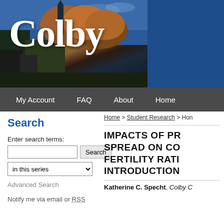[Figure (photo): Colby College campus header banner with autumn trees, buildings, blue sky on left, and solid dark blue panel on right. Large white 'Colby' serif text overlaid on the left photo portion.]
My Account   FAQ   About   Home
Search
Enter search terms:
in this series
Advanced Search
Notify me via email or RSS
Home > Student Research > Hon...
IMPACTS OF PR... SPREAD ON CO... FERTILITY RATI... INTRODUCTION...
Katherine C. Specht, Colby C...